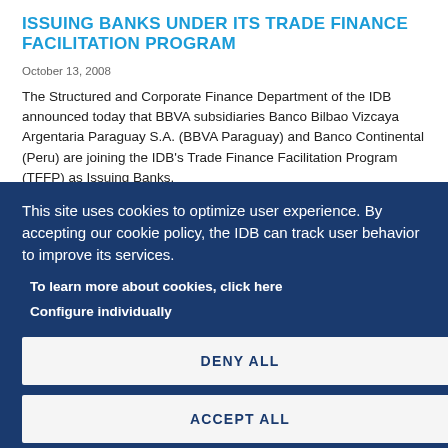ISSUING BANKS UNDER ITS TRADE FINANCE FACILITATION PROGRAM
October 13, 2008
The Structured and Corporate Finance Department of the IDB announced today that BBVA subsidiaries Banco Bilbao Vizcaya Argentaria Paraguay S.A. (BBVA Paraguay) and Banco Continental (Peru) are joining the IDB's Trade Finance Facilitation Program (TFFP) as Issuing Banks.
This site uses cookies to optimize user experience. By accepting our cookie policy, the IDB can track user behavior to improve its services.
To learn more about cookies, click here
Configure individually
DENY ALL
ACCEPT ALL